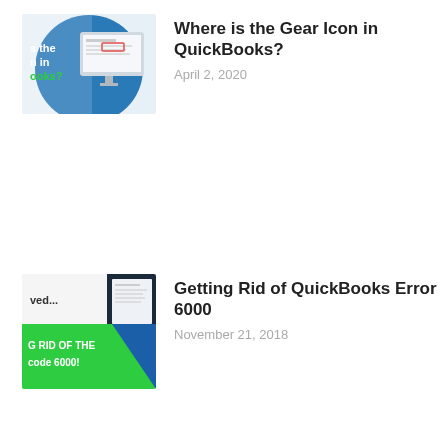[Figure (screenshot): Thumbnail image for QuickBooks Gear Icon article, showing a computer monitor with QuickBooks interface and text 's the n in ooks?' on a blue circular background]
Where is the Gear Icon in QuickBooks?
April 2, 2020
[Figure (screenshot): Thumbnail image for QuickBooks Error 6000 article, showing a laptop with QuickBooks interface, green background with text 'G RID OF THE code 6000!' and 'ved...']
Getting Rid of QuickBooks Error 6000
November 21, 2018